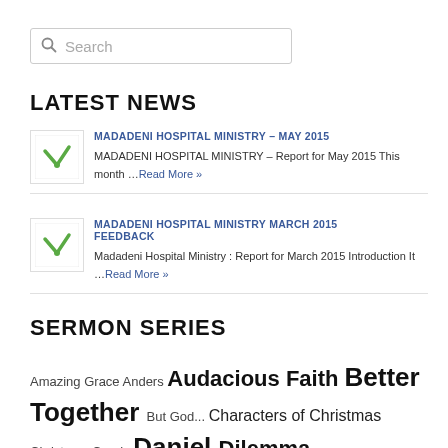[Figure (other): Search input box with magnifying glass icon and placeholder text 'Search']
LATEST NEWS
MADADENI HOSPITAL MINISTRY – MAY 2015
MADADENI HOSPITAL MINISTRY – Report for May 2015 This month …Read More »
MADADENI HOSPITAL MINISTRY MARCH 2015 FEEDBACK
Madadeni Hospital Ministry : Report for March 2015 Introduction It …Read More »
SERMON SERIES
Amazing Grace Anders Audacious Faith Better Together But God... Characters of Christmas Christmas Carols Daniel Dilemma Defeating Giants Discerning The Times Dream